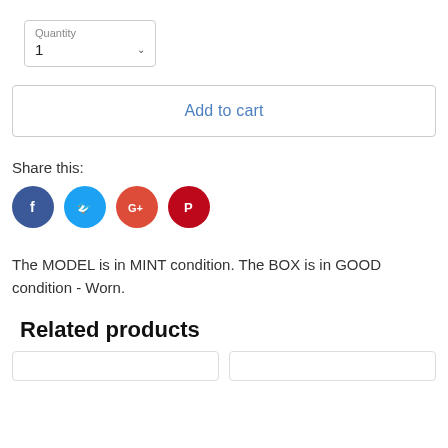[Figure (screenshot): Quantity dropdown selector showing value 1 with a chevron/arrow indicator]
[Figure (screenshot): Add to cart button with blue text on white background with border]
Share this:
[Figure (infographic): Social media sharing icons: Facebook (dark blue circle with f), Twitter (light blue circle with bird), Google+ (red circle with G+), Pinterest (dark red circle with P)]
The MODEL is in MINT condition. The BOX is in GOOD condition - Worn.
Related products